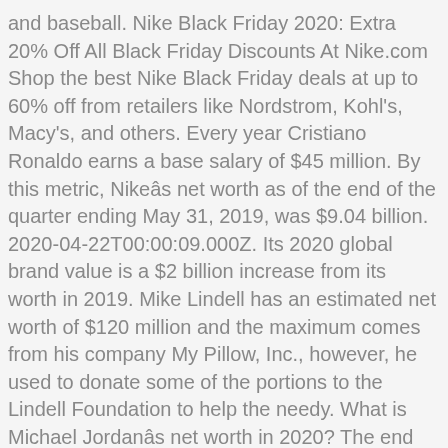and baseball. Nike Black Friday 2020: Extra 20% Off All Black Friday Discounts At Nike.com Shop the best Nike Black Friday deals at up to 60% off from retailers like Nordstrom, Kohl's, Macy's, and others. Every year Cristiano Ronaldo earns a base salary of $45 million. By this metric, Nikeâs net worth as of the end of the quarter ending May 31, 2019, was $9.04 billion. 2020-04-22T00:00:09.000Z. Its 2020 global brand value is a $2 billion increase from its worth in 2019. Mike Lindell has an estimated net worth of $120 million and the maximum comes from his company My Pillow, Inc., however, he used to donate some of the portions to the Lindell Foundation to help the needy. What is Michael Jordanâs net worth in 2020? The end result was cheaper kicks. The name âNikeâ was derived from the Greek Goddess of Victory. Nadal, though, has also been travelling by water in his 76-foot yacht, Beethoven. As many of you may know, Nike, Inc. is an American multinational corporation that is engaged in the design, development, manufacturing, marketing, and sales of sportswear, footwear, equipment, accessories, and